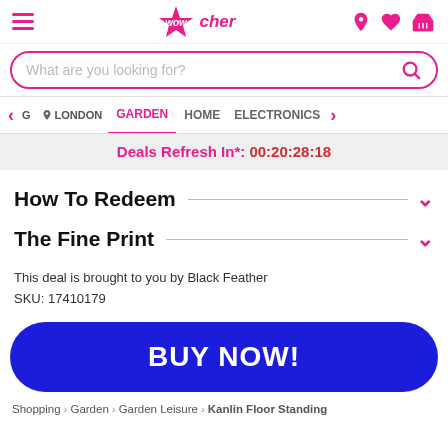Wowcher navigation header with hamburger menu, logo, location pin, heart, and basket icons
What are you looking for?
< G  LONDON  GARDEN  HOME  ELECTRONICS  >
Deals Refresh In*: 00:20:28:18
How To Redeem
The Fine Print
This deal is brought to you by Black Feather
SKU: 17410179
BUY NOW!
Shopping › Garden › Garden Leisure › Kanlin Floor Standing